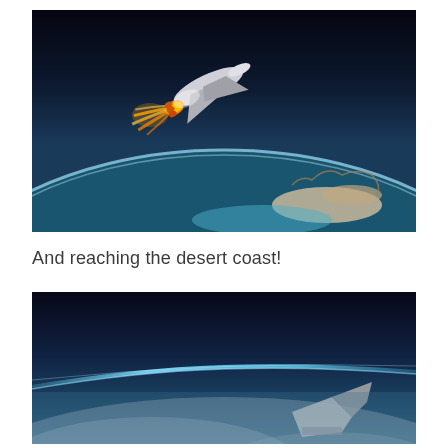[Figure (illustration): Digital artwork of a space shuttle or hypersonic spacecraft flying above Earth's atmosphere, with rocket exhaust flames visible below the craft. Earth's curved surface with a desert coastline is visible below, and the dark of space above.]
And reaching the desert coast!
[Figure (illustration): Digital artwork showing a view from a spacecraft or high-altitude vehicle looking back at Earth's atmosphere, with the thin blue atmospheric line visible along the horizon, clouds below, and a portion of the vehicle visible in the lower portion of the frame.]